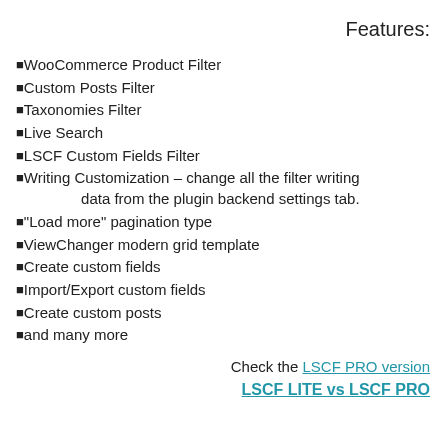Features:
WooCommerce Product Filter
Custom Posts Filter
Taxonomies Filter
Live Search
LSCF Custom Fields Filter
Writing Customization – change all the filter writing .data from the plugin backend settings tab
"Load more" pagination type
ViewChanger modern grid template
Create custom fields
Import/Export custom fields
Create custom posts
and many more
Check the LSCF PRO version
LSCF LITE vs LSCF PRO